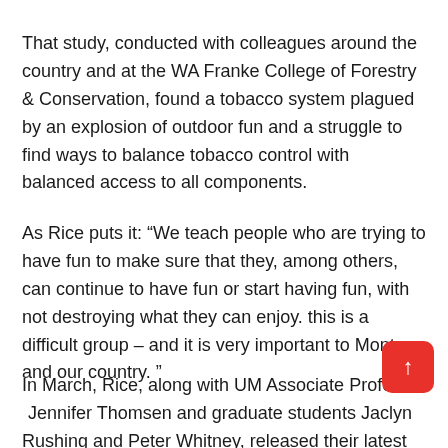That study, conducted with colleagues around the country and at the WA Franke College of Forestry & Conservation, found a tobacco system plagued by an explosion of outdoor fun and a struggle to find ways to balance tobacco control with balanced access to all components.
As Rice puts it: “We teach people who are trying to have fun to make sure that they, among others, can continue to have fun or start having fun, with not destroying what they can enjoy. this is a difficult group – and it is very important to Montana and our country. ”
In March, Rice, along with UM Associate Professor Jennifer Thomsen and graduate students Jaclyn Rushing and Peter Whitney, released their latest research, which